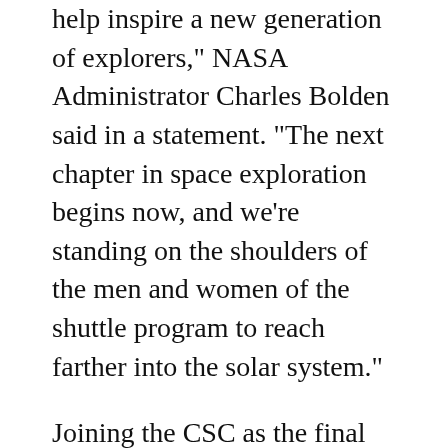help inspire a new generation of explorers," NASA Administrator Charles Bolden said in a statement. "The next chapter in space exploration begins now, and we're standing on the shoulders of the men and women of the shuttle program to reach farther into the solar system."
Joining the CSC as the final resting place of the various space shuttles are NASA's Kennedy Space Center Visitor Complex, Udvar-Hazy Center, and the Intrepid Sea, Air, & Space Museum. Endeavour has traveled 115 million miles over 25 missions and has carried 139 people into space. Now, it makes one last trip to Exposition Park through the streets of Los Angeles before it finds a permanent resting...